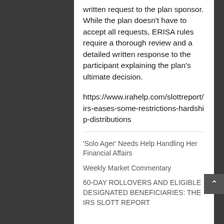written request to the plan sponsor. While the plan doesn't have to accept all requests, ERISA rules require a thorough review and a detailed written response to the participant explaining the plan's ultimate decision.
https://www.irahelp.com/slottreport/irs-eases-some-restrictions-hardship-distributions
'Solo Ager' Needs Help Handling Her Financial Affairs
Weekly Market Commentary
60-DAY ROLLOVERS AND ELIGIBLE DESIGNATED BENEFICIARIES: THE IRS SLOTT REPORT